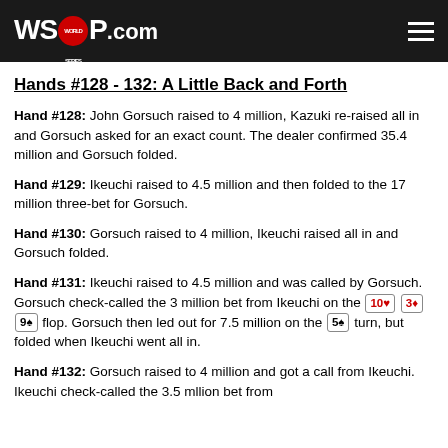WSOP.COM
Hands #128 - 132: A Little Back and Forth
Hand #128: John Gorsuch raised to 4 million, Kazuki re-raised all in and Gorsuch asked for an exact count. The dealer confirmed 35.4 million and Gorsuch folded.
Hand #129: Ikeuchi raised to 4.5 million and then folded to the 17 million three-bet for Gorsuch.
Hand #130: Gorsuch raised to 4 million, Ikeuchi raised all in and Gorsuch folded.
Hand #131: Ikeuchi raised to 4.5 million and was called by Gorsuch. Gorsuch check-called the 3 million bet from Ikeuchi on the 10♥ 3♦ 9♠ flop. Gorsuch then led out for 7.5 million on the 5♠ turn, but folded when Ikeuchi went all in.
Hand #132: Gorsuch raised to 4 million and got a call from Ikeuchi. Ikeuchi check-called the 3.5 million bet from